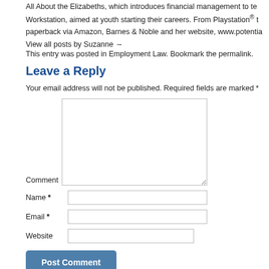All About the Elizabeths, which introduces financial management to teenagers. Workstation, aimed at youth starting their careers. From Playstation® t... paperback via Amazon, Barnes & Noble and her website, www.potentia...
View all posts by Suzanne →
This entry was posted in Employment Law. Bookmark the permalink.
Leave a Reply
Your email address will not be published. Required fields are marked *
Comment [textarea]
Name * [input]
Email * [input]
Website [input]
Post Comment [button]